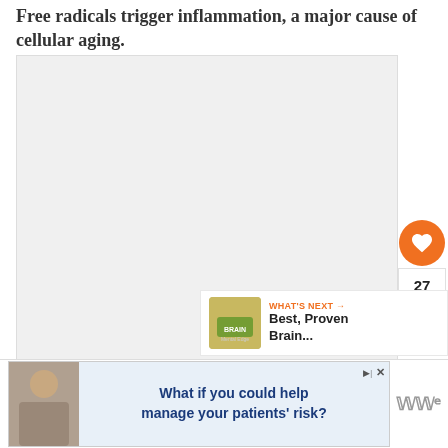Free radicals trigger inflammation, a major cause of cellular aging.
[Figure (photo): Large image area, light gray placeholder for a medical/health photo]
[Figure (infographic): Like/heart button (orange circle with heart icon), count 27, share button (white circle with share icon)]
[Figure (infographic): What's Next panel with thumbnail and text: Best, Proven Brain...]
[Figure (infographic): Advertisement banner: What if you could help manage your patients' risk?]